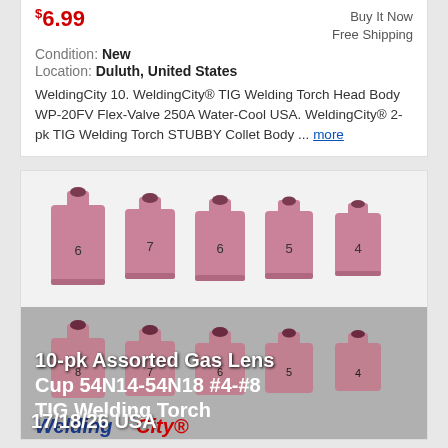$6.99
Buy It Now
Free Shipping
Condition: New
Location: Duluth, United States
WeldingCity 10. WeldingCity® TIG Welding Torch Head Body WP-20FV Flex-Valve 250A Water-Cool USA. WeldingCity® 2-pk TIG Welding Torch STUBBY Collet Body ... more
[Figure (photo): Product photo of 10-pk Assorted Gas Lens Cup 54N14-54N18 #4-#8 TIG Welding Torch 17/18/26 USA by WeldingCity, showing two rows of pink/mauve ceramic gas lens cups of varying sizes labeled 8, 7, 6, 5, 4, with WeldingCity branding overlay text]